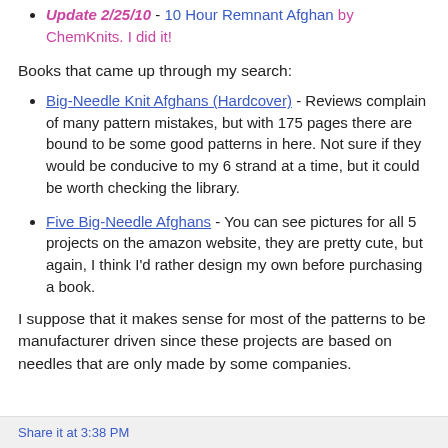Update 2/25/10 - 10 Hour Remnant Afghan by ChemKnits. I did it!
Books that came up through my search:
Big-Needle Knit Afghans (Hardcover) - Reviews complain of many pattern mistakes, but with 175 pages there are bound to be some good patterns in here. Not sure if they would be conducive to my 6 strand at a time, but it could be worth checking the library.
Five Big-Needle Afghans - You can see pictures for all 5 projects on the amazon website, they are pretty cute, but again, I think I'd rather design my own before purchasing a book.
I suppose that it makes sense for most of the patterns to be manufacturer driven since these projects are based on needles that are only made by some companies.
Share it at 3:38 PM